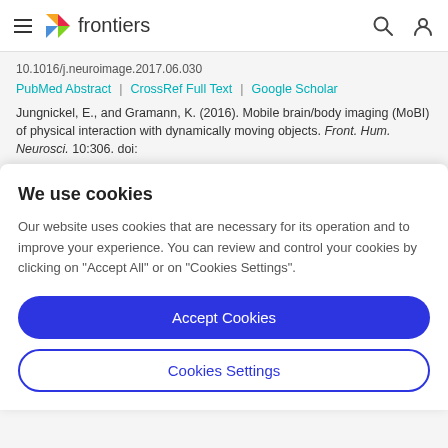frontiers (navigation bar with hamburger menu, logo, search and user icons)
10.1016/j.neuroimage.2017.06.030
PubMed Abstract | CrossRef Full Text | Google Scholar
Jungnickel, E., and Gramann, K. (2016). Mobile brain/body imaging (MoBI) of physical interaction with dynamically moving objects. Front. Hum. Neurosci. 10:306. doi:
We use cookies
Our website uses cookies that are necessary for its operation and to improve your experience. You can review and control your cookies by clicking on "Accept All" or on "Cookies Settings".
Accept Cookies
Cookies Settings